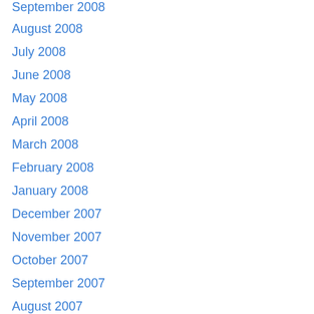September 2008
August 2008
July 2008
June 2008
May 2008
April 2008
March 2008
February 2008
January 2008
December 2007
November 2007
October 2007
September 2007
August 2007
July 2007